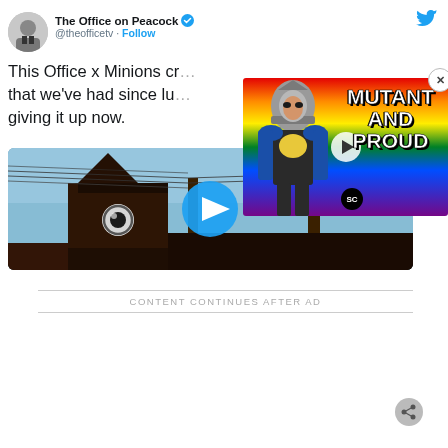[Figure (screenshot): Screenshot of a Twitter/social media webpage showing a tweet from 'The Office on Peacock' (@theofficetv) with a Follow button, partial tweet text reading 'This Office x Minions cr... that we've had since lu... giving it up now.' with a video thumbnail below showing a building/minion eye scene with a play button. An ad overlay popup shows 'MUTANT AND PROUD' with a superhero character on a rainbow background with SC badge and close button. At the bottom is a 'CONTENT CONTINUES AFTER AD' divider.]
This Office x Minions cr... that we've had since lu... giving it up now.
CONTENT CONTINUES AFTER AD